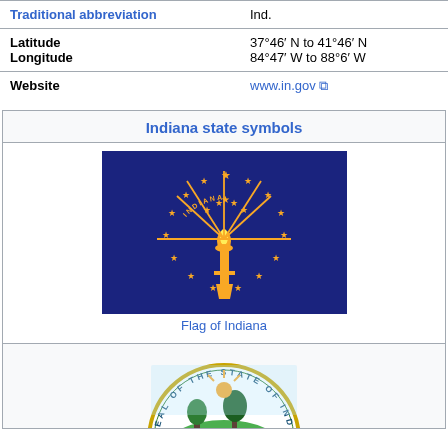| Field | Value |
| --- | --- |
| Traditional abbreviation | Ind. |
| Latitude
Longitude | 37°46′ N to 41°46′ N
84°47′ W to 88°6′ W |
| Website | www.in.gov |
Indiana state symbols
[Figure (illustration): Flag of Indiana — blue background with gold torch in the center emitting rays, surrounded by an outer ring of 13 stars and inner stars, with the word INDIANA arched above]
Flag of Indiana
[Figure (illustration): Seal of the State of Indiana — circular seal with text around the border, partially visible, showing a woodsman and trees]